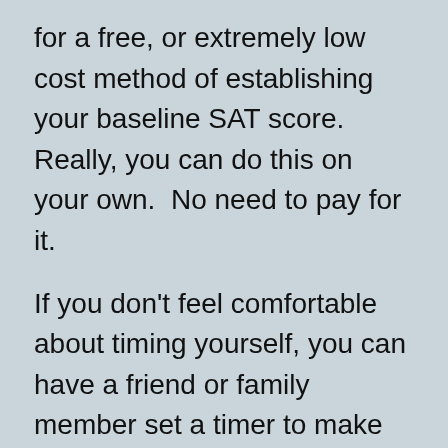for a free, or extremely low cost method of establishing your baseline SAT score. Really, you can do this on your own.  No need to pay for it.
If you don't feel comfortable about timing yourself, you can have a friend or family member set a timer to make sure you stop at the appropriate time. You can also have them read the instructions so that there's another person to help you maintain protocol.
Good luck. May your baseline score help you to gauge where you are now relative to where